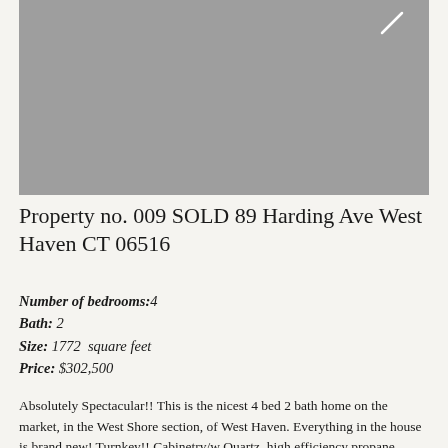[Figure (photo): Grey placeholder image of a property photo with a small white slash/checkmark in the upper right corner]
Property no. 009 SOLD 89 Harding Ave West Haven CT 06516
Number of bedrooms:4
Bath: 2
Size: 1772  square feet
Price: $302,500
Absolutely Spectacular!! This is the nicest 4 bed 2 bath home on the market, in the West Shore section, of West Haven. Everything in the house is brand new! Turnkey!! Cabinetry/w Quartz, high efficiency propane furnace & on demand water heater, hardwood floors, central air, fireplace, new roof, new siding, new windows/doors 200amp